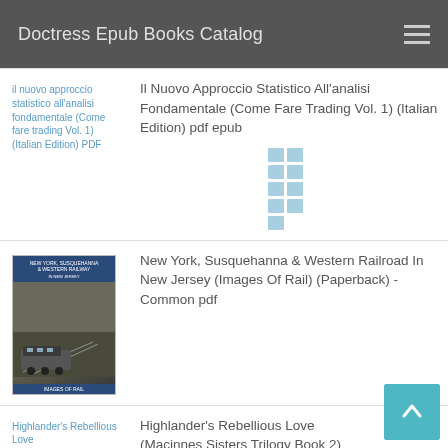Doctress Epub Books Catalog
[Figure (screenshot): Book listing row 1: Il nuovo approccio statistico all'analisi fondamentale (Come fare trading Vol. 1) (Italian Edition) PDF - link image on left, title text on right]
Il Nuovo Approccio Statistico All'analisi Fondamentale (Come Fare Trading Vol. 1) (Italian Edition) pdf epub
[Figure (other): 3x3 grid icon in light blue]
[Figure (photo): Book cover for New York, Susquehanna & Western Railroad In New Jersey (Images Of Rail) - sepia/vintage photo of trains]
New York, Susquehanna & Western Railroad In New Jersey (Images Of Rail) (Paperback) - Common pdf
[Figure (other): Broken image placeholder for Highlander's Rebellious Love]
Highlander's Rebellious Love (Macinnes Sisters Trilogy Book 2)